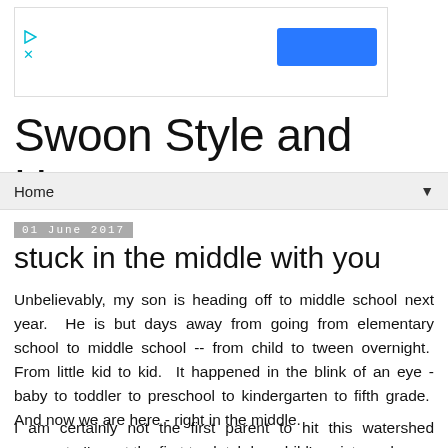[Figure (other): Advertisement banner with play icon, X close icon, and a blue button]
Swoon Style and Home
Home ▼
01 June 2017
stuck in the middle with you
Unbelievably, my son is heading off to middle school next year.  He is but days away from going from elementary school to middle school -- from child to tween overnight.  From little kid to kid.  It happened in the blink of an eye - baby to toddler to preschool to kindergarten to fifth grade.  And now we are here - right in the middle.
I am certainly not the first parent to hit this watershed moment.  I'm not the first to clutch her child's wrists and say...